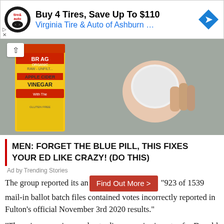[Figure (advertisement): Virginia Tire & Auto of Ashburn advertisement banner with logo and blue diamond icon. Headline: Buy 4 Tires, Save Up To $110. Subline: Virginia Tire & Auto of Ashburn ...]
[Figure (photo): Photo of a bottle of Bragg Organic Raw Apple Cider Vinegar with a hand holding a cotton pad/disk, on a grey surface. Has a chevron/up-arrow button overlay.]
MEN: FORGET THE BLUE PILL, THIS FIXES YOUR ED LIKE CRAZY! (DO THIS)
Ad by Trending Stories
The group reported its an [Find Out More >] "923 of 1539 mail-in ballot batch files contained votes incorrectly reported in Fulton's official November 3rd 2020 results."
"These inaccuracies are due to discrepancies in votes for Donald Trump, Joe Biden and total votes cast compared to their reported audit totals for respective batches. Thus, the error reporting rate in Fulton's hand count audit is a